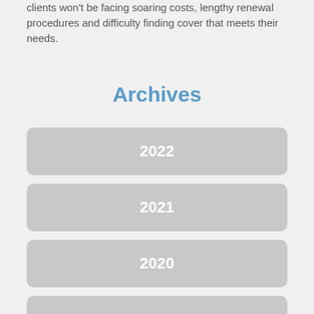clients won't be facing soaring costs, lengthy renewal procedures and difficulty finding cover that meets their needs.
Archives
2022
2021
2020
2019
2018